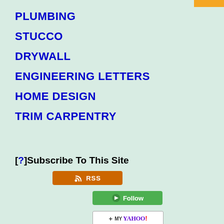PLUMBING
STUCCO
DRYWALL
ENGINEERING LETTERS
HOME DESIGN
TRIM CARPENTRY
[?]Subscribe To This Site
[Figure (infographic): Subscribe buttons: RSS (orange), Follow (green), My Yahoo! (white with logo), My MSN (white with logo)]